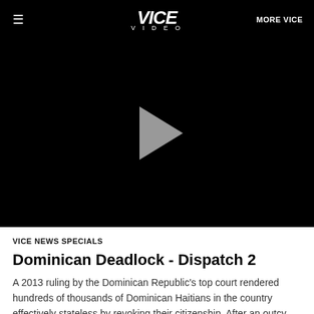VICE VIDEO | MORE VICE
[Figure (screenshot): Black video player with a gray play button triangle in the center, showing a paused video state for the Vice Video player.]
VICE NEWS SPECIALS
Dominican Deadlock - Dispatch 2
A 2013 ruling by the Dominican Republic's top court rendered hundreds of thousands of Dominican Haitians in the country effectively stateless by revoking their citizenship. After an outcy